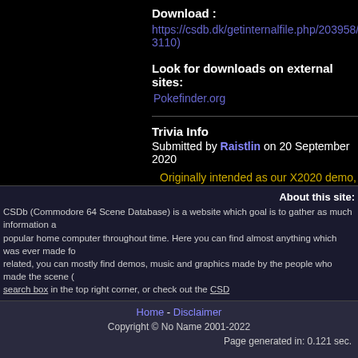Download : https://csdb.dk/getinternalfile.php/203958/Mem 3110)
Look for downloads on external sites: Pokefinder.org
Trivia Info
Submitted by Raistlin on 20 September 2020
Originally intended as our X2020 demo, before
The production proved difficult for the team for theme felt too much for the year - Covid was ri close/immediate family members during 2020. months before we finished the demo.
We dedicate the demo to them, along with all t times.
About this site: CSDb (Commodore 64 Scene Database) is a website which goal is to gather as much information a popular home computer throughout time. Here you can find almost anything which was ever made fo related, you can mostly find demos, music and graphics made by the people who made the scene ( search box in the top right corner, or check out the CSD
Home - Disclaimer Copyright © No Name 2001-2022 Page generated in: 0.121 sec.